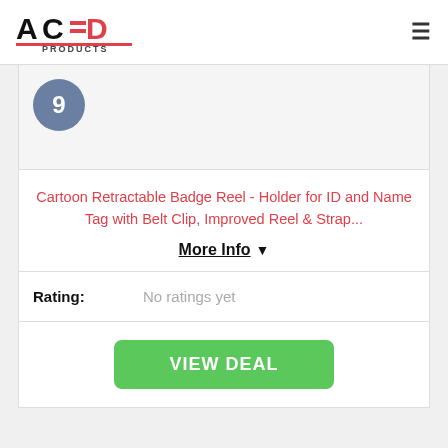ACED PRODUCTS
[Figure (logo): ACED Products logo with stylized text and red underline]
9
Cartoon Retractable Badge Reel - Holder for ID and Name Tag with Belt Clip, Improved Reel & Strap...
More Info ▼
Rating: No ratings yet
VIEW DEAL